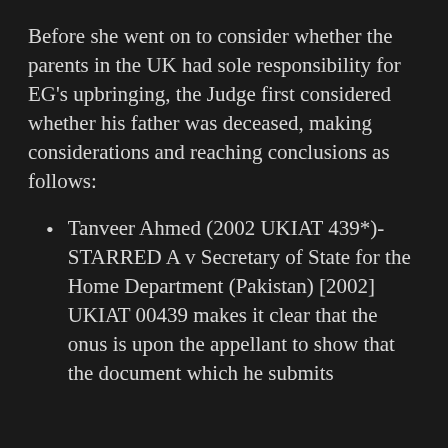Before she went on to consider whether the parents in the UK had sole responsibility for EG's upbringing, the Judge first considered whether his father was deceased, making considerations and reaching conclusions as follows:
Tanveer Ahmed (2002 UKIAT 439*)- STARRED A v Secretary of State for the Home Department (Pakistan) [2002] UKIAT 00439 makes it clear that the onus is upon the appellant to show that the document which he submits